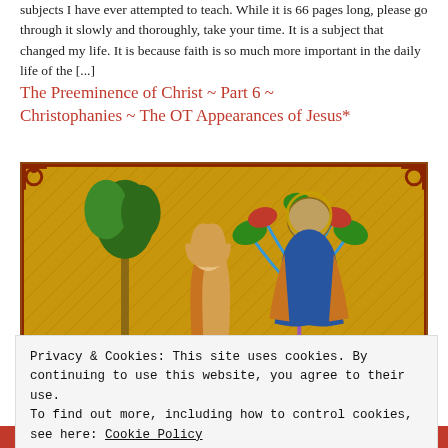subjects I have ever attempted to teach. While it is 66 pages long, please go through it slowly and thoroughly, take your time. It is a subject that changed my life. It is because faith is so much more important in the daily life of the [...]
The Preeminence of Christ ~ Part 6 ~ Christophanies ~ The OT Appearances of Jesus*
[Figure (illustration): Medieval illuminated manuscript illustration showing a robed figure looking up at Christ appearing in a decorative flowering tree/bush against a gold patterned background, framed with ornate corners.]
Privacy & Cookies: This site uses cookies. By continuing to use this website, you agree to their use.
To find out more, including how to control cookies, see here: Cookie Policy
Close and accept
for listeners.